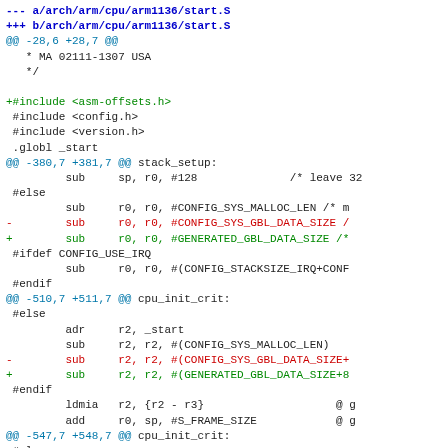Git diff output for arch/arm/cpu/arm1136/start.S showing hunk headers, context lines, removed lines (red), and added lines (green).